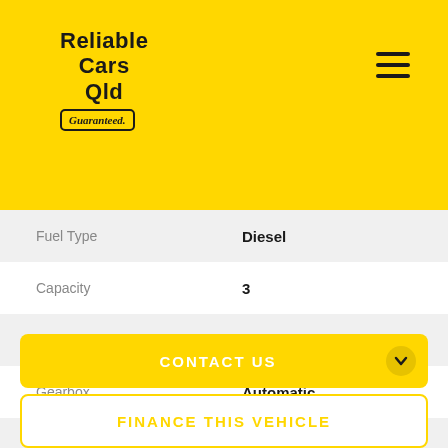[Figure (logo): Reliable Cars Qld Guaranteed. logo on yellow background with hamburger menu icon]
| Attribute | Value |
| --- | --- |
| Fuel Type | Diesel |
| Capacity | 3 |
| Gears | 5 Speed |
| Gearbox | Automatic |
| Transmission | Automatic |
| Odometer | 154,220 kms |
| Drive Type | RWD |
CONTACT US
FINANCE THIS VEHICLE